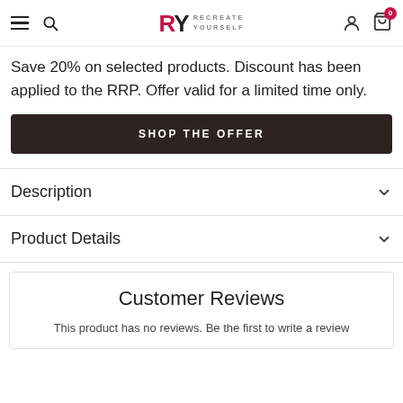RY RECREATE YOURSELF — navigation header with hamburger, search, logo, user icon, cart (0)
Save 20% on selected products. Discount has been applied to the RRP. Offer valid for a limited time only.
SHOP THE OFFER
Description
Product Details
Customer Reviews
This product has no reviews. Be the first to write a review